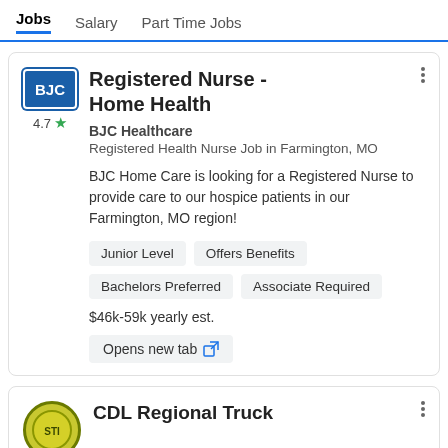Jobs  Salary  Part Time Jobs
Registered Nurse - Home Health
BJC Healthcare
Registered Health Nurse Job in Farmington, MO
BJC Home Care is looking for a Registered Nurse to provide care to our hospice patients in our Farmington, MO region!
Junior Level
Offers Benefits
Bachelors Preferred
Associate Required
$46k-59k yearly est.
Opens new tab
CDL Regional Truck